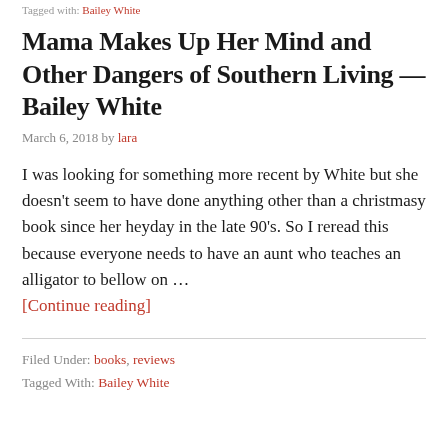Tagged with: [link]
Mama Makes Up Her Mind and Other Dangers of Southern Living — Bailey White
March 6, 2018 by lara
I was looking for something more recent by White but she doesn't seem to have done anything other than a christmasy book since her heyday in the late 90's. So I reread this because everyone needs to have an aunt who teaches an alligator to bellow on … [Continue reading]
Filed Under: books, reviews
Tagged With: Bailey White